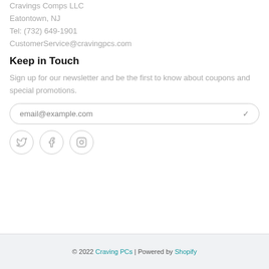Cravings Comps LLC
Eatontown, NJ
Tel: (732) 649-1901
CustomerService@cravingpcs.com
Keep in Touch
Sign up for our newsletter and be the first to know about coupons and special promotions.
[Figure (other): Email input field with placeholder text 'email@example.com' and a checkmark/chevron icon on the right, rounded border]
[Figure (other): Three social media icon circles: Twitter (bird), Facebook (f), Instagram (camera)]
© 2022 Craving PCs | Powered by Shopify